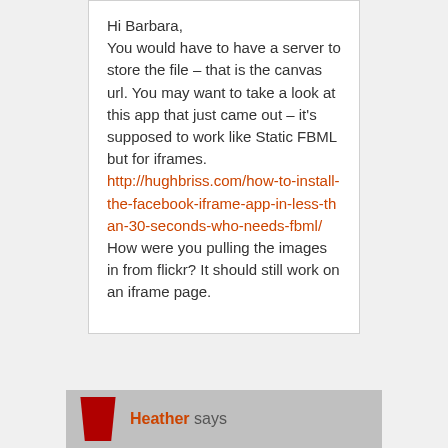Hi Barbara,
You would have to have a server to store the file – that is the canvas url. You may want to take a look at this app that just came out – it's supposed to work like Static FBML but for iframes.
http://hughbriss.com/how-to-install-the-facebook-iframe-app-in-less-than-30-seconds-who-needs-fbml/
How were you pulling the images in from flickr? It should still work on an iframe page.
Heather says